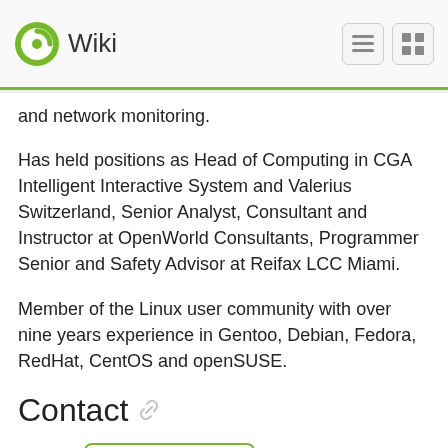Wiki
and network monitoring.
Has held positions as Head of Computing in CGA Intelligent Interactive System and Valerius Switzerland, Senior Analyst, Consultant and Instructor at OpenWorld Consultants, Programmer Senior and Safety Advisor at Reifax LCC Miami.
Member of the Linux user community with over nine years experience in Gentoo, Debian, Fedora, RedHat, CentOS and openSUSE.
Contact
E-mail: alexbariv@opensuse.org
Twitter: @alexbariv